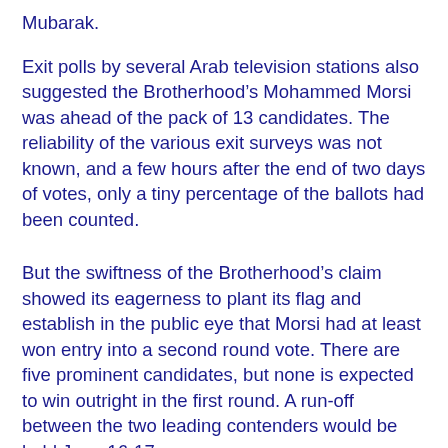Mubarak.
Exit polls by several Arab television stations also suggested the Brotherhood’s Mohammed Morsi was ahead of the pack of 13 candidates. The reliability of the various exit surveys was not known, and a few hours after the end of two days of votes, only a tiny percentage of the ballots had been counted.
But the swiftness of the Brotherhood’s claim showed its eagerness to plant its flag and establish in the public eye that Morsi had at least won entry into a second round vote. There are five prominent candidates, but none is expected to win outright in the first round. A run-off between the two leading contenders would be held June 16-17.
The Brotherhood is hoping for a presidential